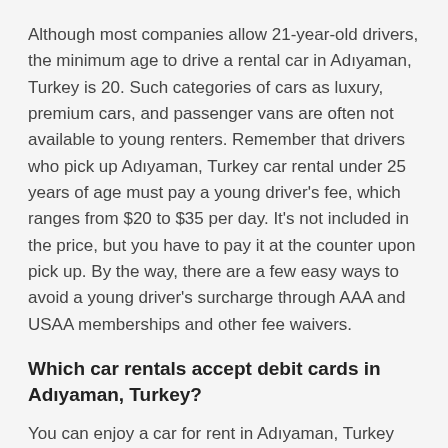Although most companies allow 21-year-old drivers, the minimum age to drive a rental car in Adıyaman, Turkey is 20. Such categories of cars as luxury, premium cars, and passenger vans are often not available to young renters. Remember that drivers who pick up Adıyaman, Turkey car rental under 25 years of age must pay a young driver's fee, which ranges from $20 to $35 per day. It's not included in the price, but you have to pay it at the counter upon pick up. By the way, there are a few easy ways to avoid a young driver's surcharge through AAA and USAA memberships and other fee waivers.
Which car rentals accept debit cards in Adıyaman, Turkey?
You can enjoy a car for rent in Adıyaman, Turkey with a debit card from Hertz, Thrifty, and Dollar. However, there are some debit card requirements and restrictions:
Your debit card should have a VISA or MasterCard logo and embossed numbers on it, and it must also contain the